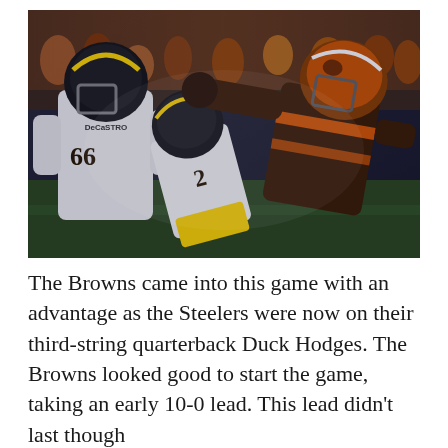[Figure (photo): NFL football brawl scene showing Pittsburgh Steelers players (including #66 DeCastro and #2 in white uniform) being struck by a Cleveland Browns player in a brown uniform. The action takes place on the football field with fans visible in the background.]
The Browns came into this game with an advantage as the Steelers were now on their third-string quarterback Duck Hodges. The Browns looked good to start the game, taking an early 10-0 lead. This lead didn't last though